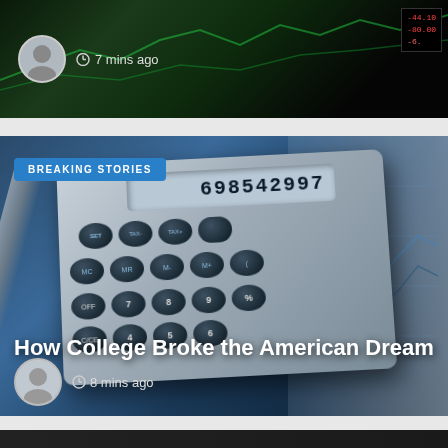[Figure (screenshot): Top news card with dark background showing stock market data, user avatar and '7 mins ago' timestamp]
7 mins ago
[Figure (photo): Calculator with display showing 698542997 on top of financial charts with 'BREAKING STORIES' badge, headline 'How College Broke the American Dream', and '8 mins ago' timestamp]
How College Broke the American Dream
8 mins ago